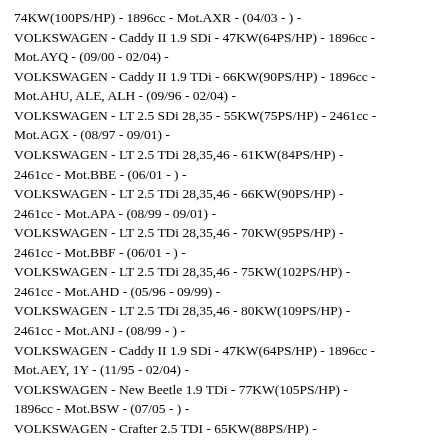74KW(100PS/HP) - 1896cc - Mot.AXR - (04/03 - ) -
VOLKSWAGEN - Caddy II 1.9 SDi - 47KW(64PS/HP) - 1896cc - Mot.AYQ - (09/00 - 02/04) -
VOLKSWAGEN - Caddy II 1.9 TDi - 66KW(90PS/HP) - 1896cc - Mot.AHU, ALE, ALH - (09/96 - 02/04) -
VOLKSWAGEN - LT 2.5 SDi 28,35 - 55KW(75PS/HP) - 2461cc - Mot.AGX - (08/97 - 09/01) -
VOLKSWAGEN - LT 2.5 TDi 28,35,46 - 61KW(84PS/HP) - 2461cc - Mot.BBE - (06/01 - ) -
VOLKSWAGEN - LT 2.5 TDi 28,35,46 - 66KW(90PS/HP) - 2461cc - Mot.APA - (08/99 - 09/01) -
VOLKSWAGEN - LT 2.5 TDi 28,35,46 - 70KW(95PS/HP) - 2461cc - Mot.BBF - (06/01 - ) -
VOLKSWAGEN - LT 2.5 TDi 28,35,46 - 75KW(102PS/HP) - 2461cc - Mot.AHD - (05/96 - 09/99) -
VOLKSWAGEN - LT 2.5 TDi 28,35,46 - 80KW(109PS/HP) - 2461cc - Mot.ANJ - (08/99 - ) -
VOLKSWAGEN - Caddy II 1.9 SDi - 47KW(64PS/HP) - 1896cc - Mot.AEY, 1Y - (11/95 - 02/04) -
VOLKSWAGEN - New Beetle 1.9 TDi - 77KW(105PS/HP) - 1896cc - Mot.BSW - (07/05 - ) -
VOLKSWAGEN - Crafter 2.5 TDI - 65KW(88PS/HP) - Mot.BJJ,CEBA - (04/06 - 07/11) -
VOLKSWAGEN - Crafter 2.5 TDI - 80KW(109PS/HP) - Mot.BJK, CEBB - (04/06 - ) -